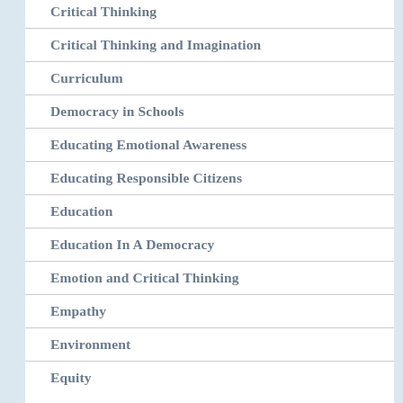Critical Thinking
Critical Thinking and Imagination
Curriculum
Democracy in Schools
Educating Emotional Awareness
Educating Responsible Citizens
Education
Education In A Democracy
Emotion and Critical Thinking
Empathy
Environment
Equity